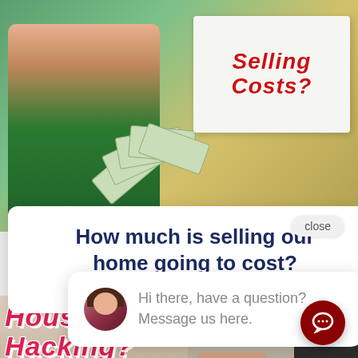[Figure (photo): Screenshot of a real estate blog website showing a thumbnail image of a woman in a green shirt holding money fans with a sign reading 'Selling Costs?' in red text]
How much is selling our home going to cost?
by Maria | Sep 8, 2021 | Selling
close
Hi there, have a question? Message us here.
[Figure (photo): Thumbnail image showing 'House Hacking?' text in pink with a dollar sign on black background and a frightened woman with a dark figure in background]